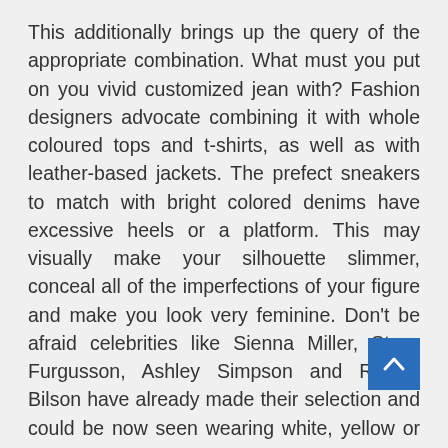This additionally brings up the query of the appropriate combination. What must you put on you vivid customized jean with? Fashion designers advocate combining it with whole coloured tops and t-shirts, as well as with leather-based jackets. The prefect sneakers to match with bright colored denims have excessive heels or a platform. This may visually make your silhouette slimmer, conceal all of the imperfections of your figure and make you look very feminine. Don't be afraid celebrities like Sienna Miller, Stacy Furgusson, Ashley Simpson and Rachel Bilson have already made their selection and could be now seen wearing white, yellow or pink denims.
Conclusion
Spring Break is just around the nook and to ensure you have a great time this yr, you'll need to be sure